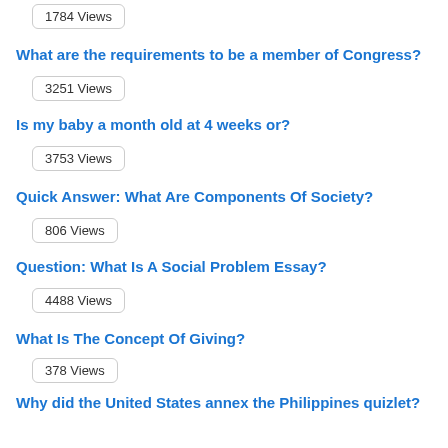1784 Views
What are the requirements to be a member of Congress?
3251 Views
Is my baby a month old at 4 weeks or?
3753 Views
Quick Answer: What Are Components Of Society?
806 Views
Question: What Is A Social Problem Essay?
4488 Views
What Is The Concept Of Giving?
378 Views
Why did the United States annex the Philippines quizlet?
320 Views
Is page a product?
1679 Views